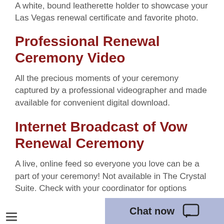A white, bound leatherette holder to showcase your Las Vegas renewal certificate and favorite photo.
Professional Renewal Ceremony Video
All the precious moments of your ceremony captured by a professional videographer and made available for convenient digital download.
Internet Broadcast of Vow Renewal Ceremony
A live, online feed so everyone you love can be a part of your ceremony! Not available in The Crystal Suite. Check with your coordinator for options
Unity Candle & Ceremony
A special ceremony f